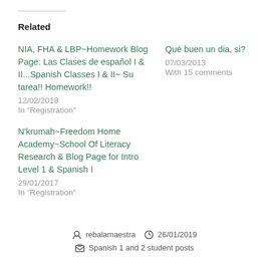Related
NIA, FHA & LBP~Homework Blog Page: Las Clases de español I & II...Spanish Classes I & II~ Su tarea!! Homework!!
12/02/2018
In "Registration"
Qué buen un dia, si?
07/03/2013
With 15 comments
N'krumah~Freedom Home Academy~School Of Literacy Research & Blog Page for Intro Level 1 & Spanish I
29/01/2017
In "Registration"
rebalamaestra  26/01/2019  Spanish 1 and 2 student posts